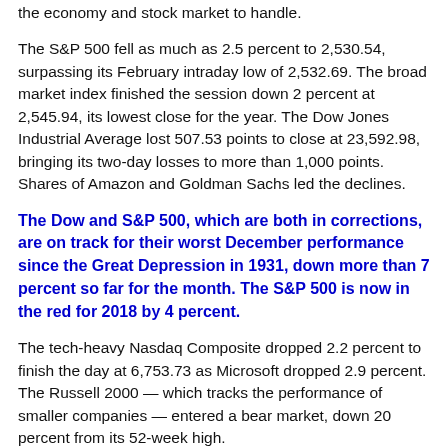the economy and stock market to handle.
The S&P 500 fell as much as 2.5 percent to 2,530.54, surpassing its February intraday low of 2,532.69. The broad market index finished the session down 2 percent at 2,545.94, its lowest close for the year. The Dow Jones Industrial Average lost 507.53 points to close at 23,592.98, bringing its two-day losses to more than 1,000 points. Shares of Amazon and Goldman Sachs led the declines.
The Dow and S&P 500, which are both in corrections, are on track for their worst December performance since the Great Depression in 1931, down more than 7 percent so far for the month. The S&P 500 is now in the red for 2018 by 4 percent.
The tech-heavy Nasdaq Composite dropped 2.2 percent to finish the day at 6,753.73 as Microsoft dropped 2.9 percent. The Russell 2000 — which tracks the performance of smaller companies — entered a bear market, down 20 percent from its 52-week high.